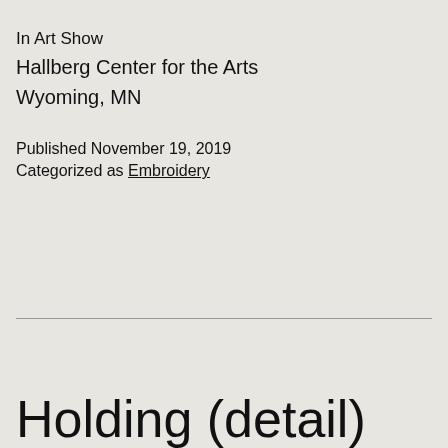In Art Show
Hallberg Center for the Arts
Wyoming, MN
Published November 19, 2019
Categorized as Embroidery
Holding (detail)